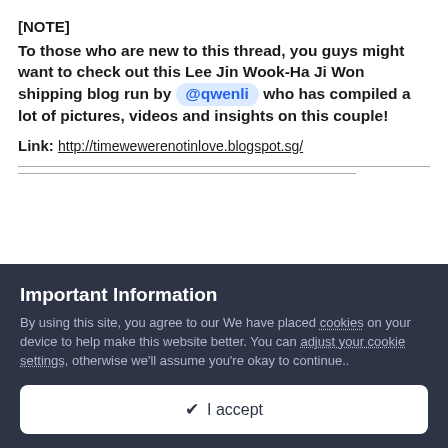[NOTE]
To those who are new to this thread, you guys might want to check out this Lee Jin Wook-Ha Ji Won shipping blog run by @qwenli who has compiled a lot of pictures, videos and insights on this couple!
Link: http://timewewerenotinlove.blogspot.sg/
Important Information
By using this site, you agree to our We have placed cookies on your device to help make this website better. You can adjust your cookie settings, otherwise we'll assume you're okay to continue..
✔ I accept